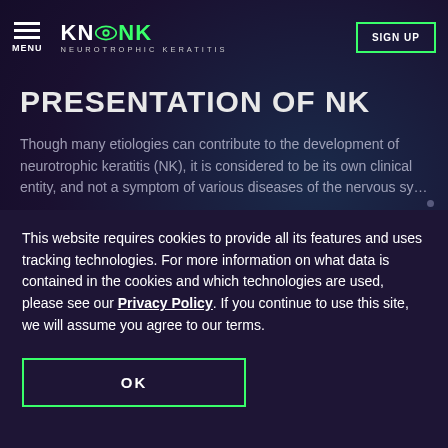MENU | KNOW NK NEUROTROPHIC KERATITIS | SIGN UP
PRESENTATION OF NK
Though many etiologies can contribute to the development of neurotrophic keratitis (NK), it is considered to be its own clinical entity, and not a symptom of various diseases of the nervous system.
This website requires cookies to provide all its features and uses tracking technologies. For more information on what data is contained in the cookies and which technologies are used, please see our Privacy Policy. If you continue to use this site, we will assume you agree to our terms.
OK